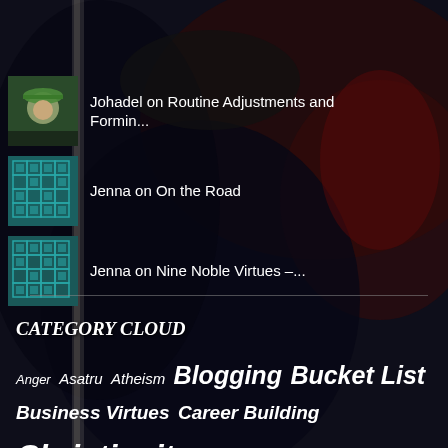[Figure (illustration): Dark fantasy oil painting background with ravens/dark birds and a mysterious figure with dark hair, deep blues, blacks, and reds]
[Figure (photo): Small avatar photo of Johadel, a person wearing a green hat]
Johadel on Routine Adjustments and Formin...
[Figure (illustration): Teal geometric/quilted pattern avatar for Jenna]
Jenna on On the Road
[Figure (illustration): Teal geometric/quilted pattern avatar for Jenna]
Jenna on Nine Noble Virtues –...
CATEGORY CLOUD
Anger Asatru Atheism Blogging Bucket List Business Virtues Career Building Christianity Courage Daily Routine Deism Depression Desires Discipline Dreams Economics